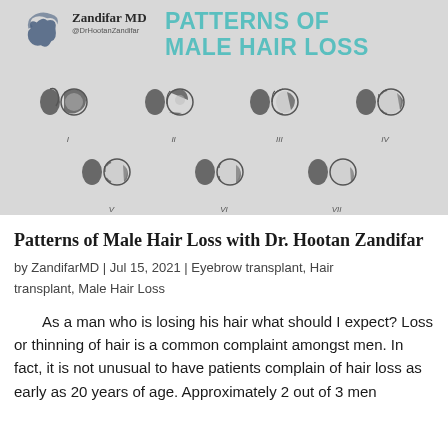[Figure (infographic): Infographic titled 'Patterns of Male Hair Loss' by Zandifar MD (@DrHootanZandifar), showing 7 stages of male hair loss (I through VII) with side-profile and top-view head illustrations for each stage arranged in two rows.]
Patterns of Male Hair Loss with Dr. Hootan Zandifar
by ZandifarMD | Jul 15, 2021 | Eyebrow transplant, Hair transplant, Male Hair Loss
As a man who is losing his hair what should I expect? Loss or thinning of hair is a common complaint amongst men. In fact, it is not unusual to have patients complain of hair loss as early as 20 years of age. Approximately 2 out of 3 men